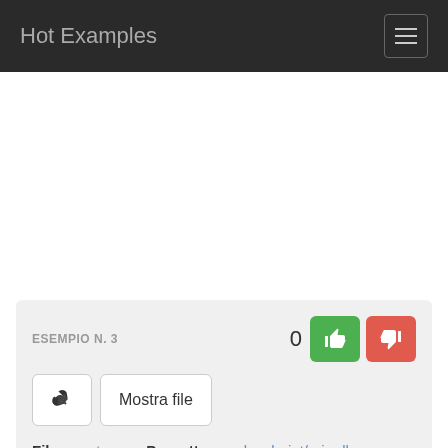Hot Examples
ESEMPIO N. 3
0
Mostra file
File: reactor.go  Progetto: readevalprint/eris-db